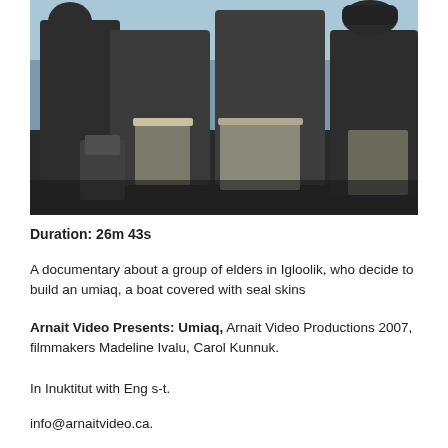[Figure (photo): Photograph of a group of people standing outdoors, wearing dark clothing, with a bright sky in the background. The image appears to be a still from a documentary.]
Duration: 26m 43s
A documentary about a group of elders in Igloolik, who decide to build an umiaq, a boat covered with seal skins
Arnait Video Presents: Umiaq, Arnait Video Productions 2007, filmmakers Madeline Ivalu, Carol Kunnuk.
In Inuktitut with Eng s-t.
info@arnaitvideo.ca.